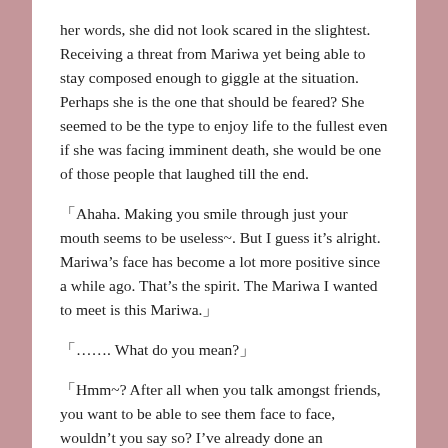her words, she did not look scared in the slightest. Receiving a threat from Mariwa yet being able to stay composed enough to giggle at the situation. Perhaps she is the one that should be feared? She seemed to be the type to enjoy life to the fullest even if she was facing imminent death, she would be one of those people that laughed till the end.
「Ahaha. Making you smile through just your mouth seems to be useless~. But I guess it’s alright. Mariwa’s face has become a lot more positive since a while ago. That’s the spirit. The Mariwa I wanted to meet is this Mariwa.」
「……. What do you mean?」
「Hmm~? After all when you talk amongst friends, you want to be able to see them face to face, wouldn’t you say so? I’ve already done an